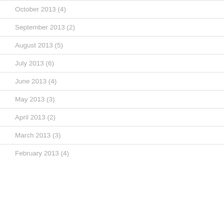October 2013 (4)
September 2013 (2)
August 2013 (5)
July 2013 (6)
June 2013 (4)
May 2013 (3)
April 2013 (2)
March 2013 (3)
February 2013 (4)